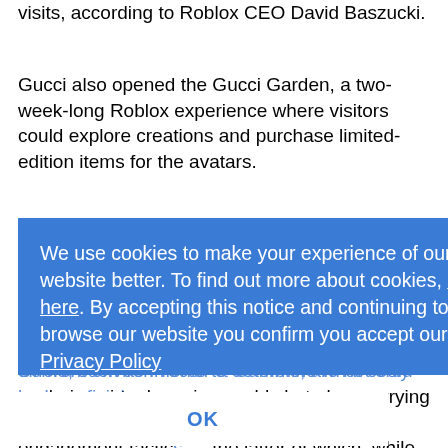visits, according to Roblox CEO David Baszucki.
Gucci also opened the Gucci Garden, a two-week-long Roblox experience where visitors could explore creations and purchase limited-edition items for the avatars.
Some confusion about what constitutes a metaverse experience vs. a virtual one remains both within in the industry and among consumers — especially with the rise of 'phygital retail' — and brands are experimenting with a range of different environments to determine what could be beneficial.
Some, such as Procter & Gamble, are not only exploring virtual gaming worlds but also marrying physical and digital retail commerce for new engagement tactics — the latter of which, while not new, is becoming more immersive thanks to increasing digital capabilities. In
We use cookies to make your experience of our website better. To find out more about cookies, click here. By accepting this notice and continuing to browse our website you confirm you accept our Privacy Policy
OK